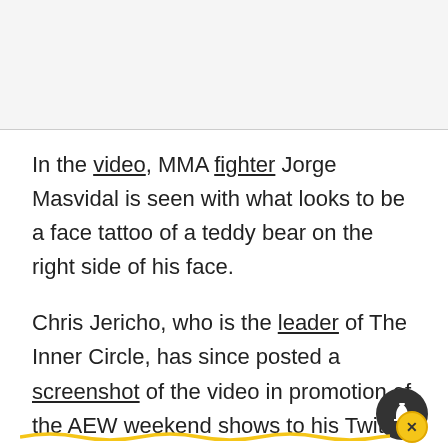In the video, MMA fighter Jorge Masvidal is seen with what looks to be a face tattoo of a teddy bear on the right side of his face.
Chris Jericho, who is the leader of The Inner Circle, has since posted a screenshot of the video in promotion of the AEW weekend shows to his Twitter